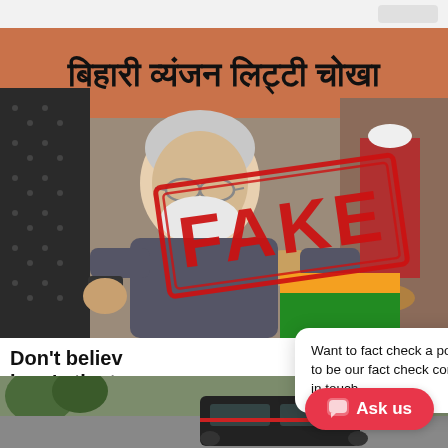[Figure (screenshot): Main news article screenshot showing a photo of an elderly Indian man at a food market stall with a large red FAKE stamp overlaid on the image. A Hindi sign is visible at the top reading 'बिहारी व्यंजन लिट्टी चोखा'.]
Don't believe here's the tr
Newsmobile
[Figure (screenshot): Popup chat widget overlay saying 'Want to fact check a post or want to be our fact check contributor get in touch' with a minus/close button, and a red 'Ask us' button in the bottom right corner.]
[Figure (photo): Partial bottom photo strip showing a street scene with a vehicle visible.]